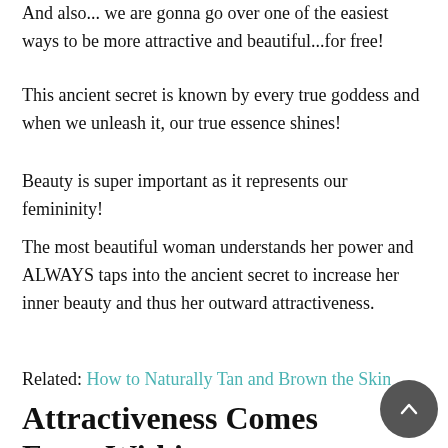And also... we are gonna go over one of the easiest ways to be more attractive and beautiful...for free!
This ancient secret is known by every true goddess and when we unleash it, our true essence shines!
Beauty is super important as it represents our femininity!
The most beautiful woman understands her power and ALWAYS taps into the ancient secret to increase her inner beauty and thus her outward attractiveness.
Related: How to Naturally Tan and Brown the Skin
Attractiveness Comes From Within
In case you didn't know, true beauty comes from within and here's how it works: